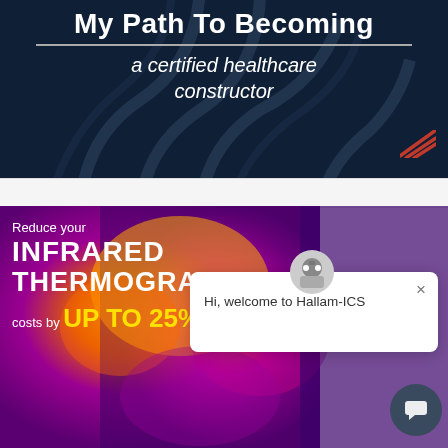[Figure (illustration): Dark navy blue banner with decorative circuit-line pattern in background. Text reads 'My Path To Becoming' in bold white, with a horizontal divider line, followed by italic white text 'a certified healthcare constructor'. Red diagonal lines logo in bottom right corner.]
[Figure (illustration): Infrared thermography promotional banner with colorful heat-map background image. White bold text: 'Reduce your INFRARED THERMOGRAPHY costs by UP TO 25%' (UP TO 25% in yellow/gold). Overlaid chat popup with robot avatar icon reads 'Hi, welcome to Hallam-ICS' with X close button. Dark chat button in bottom right.]